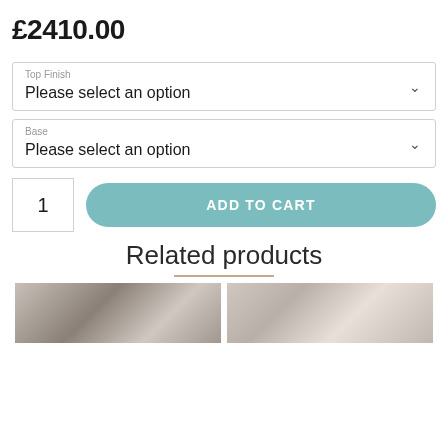£2410.00
Top Finish
Please select an option
Base
Please select an option
1
ADD TO CART
Related products
[Figure (photo): Two product thumbnail images side by side showing related products]